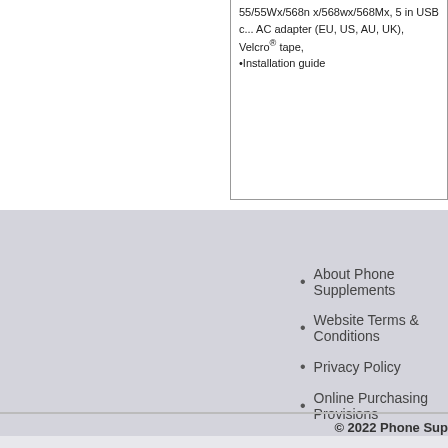55/55Wx/568n x/568wx/568Mx, 5 in USB c... AC adapter (EU, US, AU, UK), Velcro® tape, •Installation guide
About Phone Supplements
Website Terms & Conditions
Privacy Policy
Online Purchasing Provisions
Contact Phone Supplements
© 2022 Phone Sup